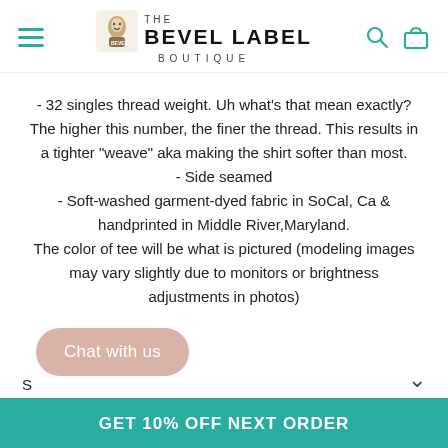THE BEVEL LABEL BOUTIQUE
- 32 singles thread weight. Uh what's that mean exactly? The higher this number, the finer the thread. This results in a tighter "weave" aka making the shirt softer than most.
- Side seamed
- Soft-washed garment-dyed fabric in SoCal, Ca & handprinted in Middle River,Maryland.
The color of tee will be what is pictured (modeling images may vary slightly due to monitors or brightness adjustments in photos)
Chat with us
GET 10% OFF NEXT ORDER